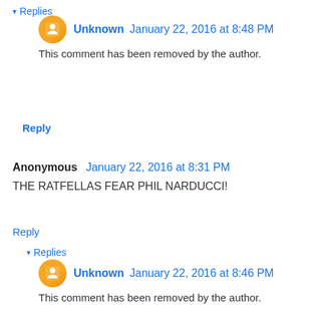▾ Replies
Unknown  January 22, 2016 at 8:48 PM
This comment has been removed by the author.
Reply
Anonymous  January 22, 2016 at 8:31 PM
THE RATFELLAS FEAR PHIL NARDUCCI!
Reply
▾ Replies
Unknown  January 22, 2016 at 8:46 PM
This comment has been removed by the author.